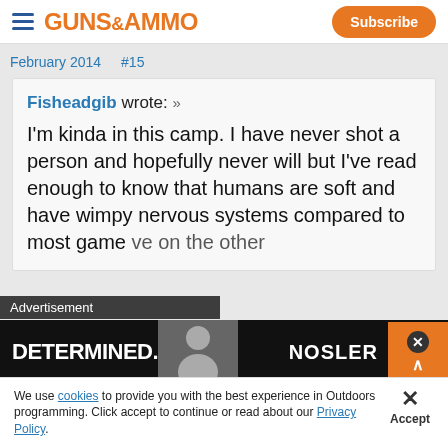GUNS&AMMO  Subscribe
February 2014    #15
Fisheadgib wrote: » I'm kinda in this camp. I have never shot a person and hopefully never will but I've read enough to know that humans are soft and have wimpy nervous systems compared to most game [animals. We on the other...]
Advertisement  DETERMINED.  NOSLER
We use cookies to provide you with the best experience in Outdoors programming. Click accept to continue or read about our Privacy Policy.